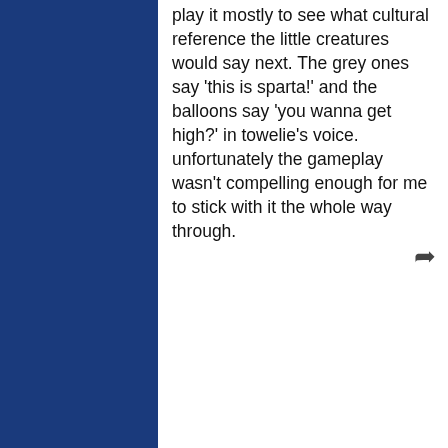play it mostly to see what cultural reference the little creatures would say next. The grey ones say 'this is sparta!' and the balloons say 'you wanna get high?' in towelie's voice. unfortunately the gameplay wasn't compelling enough for me to stick with it the whole way through.
glowtmickey • September 28, 2009 8:20 PM
A save feature may have been nice...
Mokus • September 29, 2009 4:31 AM
Thank you for the review.
I really enjoy it!!